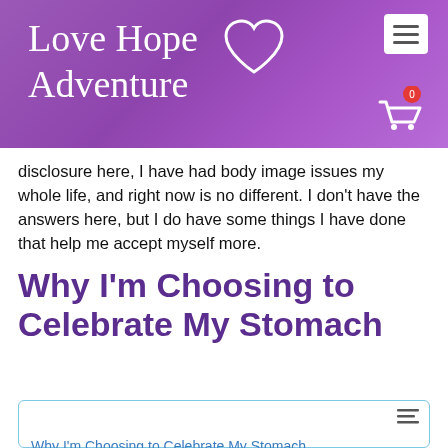[Figure (logo): Love Hope Adventure website header with purple gradient background, script logo text with heart outline, hamburger menu button, and shopping cart icon with 0 badge]
disclosure here, I have had body image issues my whole life, and right now is no different. I don't have the answers here, but I do have some things I have done that help me accept myself more.
Why I'm Choosing to Celebrate My Stomach
Why I'm Choosing to Celebrate My Stomach
Ways I'm Accepting My Belly
Look in the mirror-